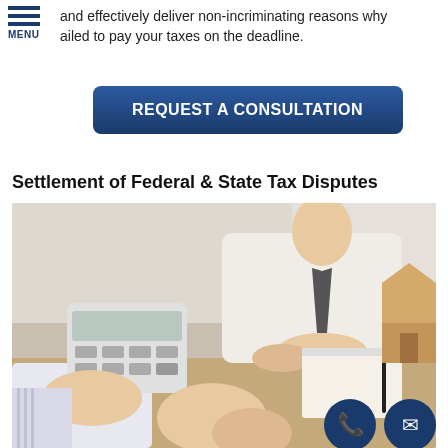and effectively deliver non-incriminating reasons why ailed to pay your taxes on the deadline.
[Figure (other): Menu hamburger icon with three horizontal blue lines and MENU label below]
[Figure (other): Dark blue rounded button with text REQUEST A CONSULTATION in white bold letters]
Settlement of Federal & State Tax Disputes
[Figure (photo): Two people at a desk during a consultation. One person holding a calculator, another with hands folded. A clipboard with paper, pen, and a small wooden house model on the desk. Background is blurred office setting.]
[Figure (other): Dark navy blue circular phone/call icon button at bottom right of photo]
[Figure (other): Dark navy blue circular email/envelope icon button at bottom right of photo]